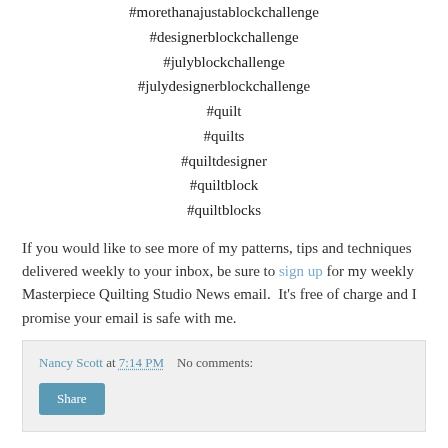#morethanajustablockchallenge
#designerblockchallenge
#julyblockchallenge
#julydesignerblockchallenge
#quilt
#quilts
#quiltdesigner
#quiltblock
#quiltblocks
If you would like to see more of my patterns, tips and techniques delivered weekly to your inbox, be sure to sign up for my weekly Masterpiece Quilting Studio News email.  It's free of charge and I promise your email is safe with me.
Nancy Scott at 7:14 PM   No comments:
Share
Thursday, July 8, 2021